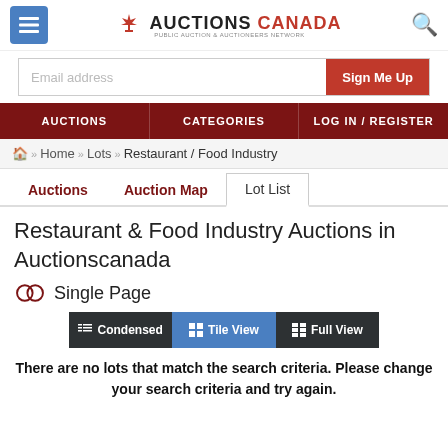AUCTIONS CANADA — PUBLIC AUCTION & AUCTIONEERS NETWORK
Email address | Sign Me Up
AUCTIONS | CATEGORIES | LOG IN / REGISTER
Home » Lots » Restaurant / Food Industry
Auctions | Auction Map | Lot List
Restaurant & Food Industry Auctions in Auctionscanada
Single Page
Condensed | Tile View | Full View
There are no lots that match the search criteria. Please change your search criteria and try again.